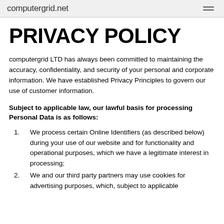computergrid.net
PRIVACY POLICY
computergrid LTD has always been committed to maintaining the accuracy, confidentiality, and security of your personal and corporate information. We have established Privacy Principles to govern our use of customer information.
Subject to applicable law, our lawful basis for processing Personal Data is as follows:
We process certain Online Identifiers (as described below) during your use of our website and for functionality and operational purposes, which we have a legitimate interest in processing;
We and our third party partners may use cookies for advertising purposes, which, subject to applicable law, we will...